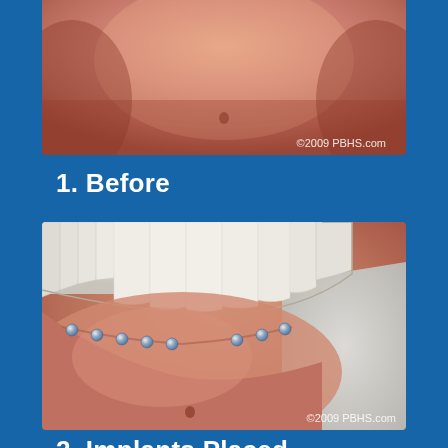[Figure (illustration): 3D medical illustration showing a lower jaw/chin from below before dental implant procedure, skin-toned rendering. Watermark: ©2009 PBHS.com]
1. Before
[Figure (illustration): 3D medical illustration showing a lower jaw open with upper teeth visible and dental implants (small spherical abutments) placed in the lower jawbone. Watermark: ©2009 PBHS.com]
2. Implants Placed